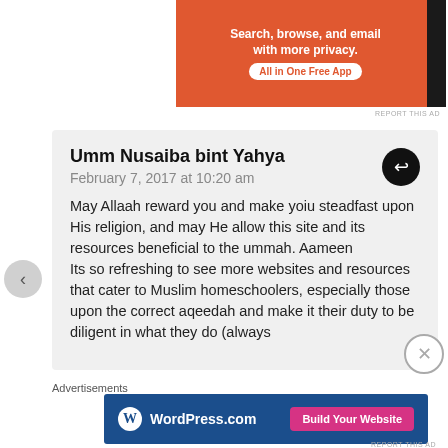[Figure (screenshot): DuckDuckGo advertisement banner: orange background with text 'Search, browse, and email with more privacy. All in One Free App' and DuckDuckGo logo on dark right panel]
REPORT THIS AD
Umm Nusaiba bint Yahya
February 7, 2017 at 10:20 am
May Allaah reward you and make yoiu steadfast upon His religion, and may He allow this site and its resources beneficial to the ummah. Aameen
Its so refreshing to see more websites and resources that cater to Muslim homeschoolers, especially those upon the correct aqeedah and make it their duty to be diligent in what they do (always
Advertisements
[Figure (screenshot): WordPress.com advertisement banner with blue background, WordPress logo, and 'Build Your Website' pink button]